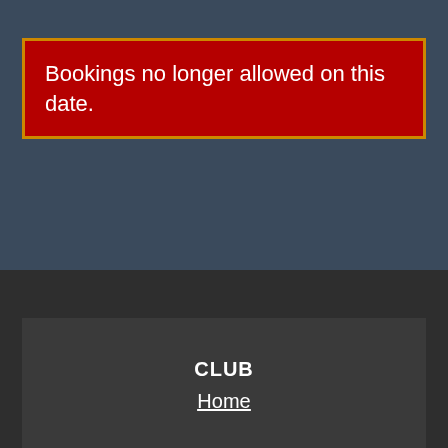Bookings no longer allowed on this date.
CLUB
Home